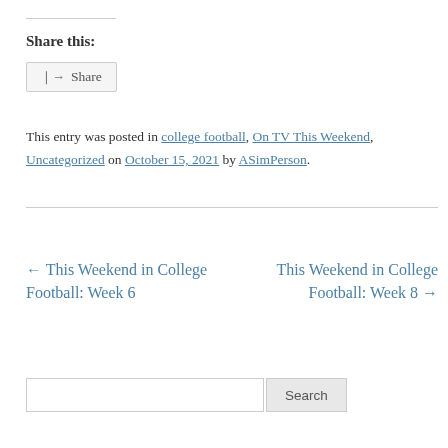Share this:
Share
This entry was posted in college football, On TV This Weekend, Uncategorized on October 15, 2021 by ASimPerson.
← This Weekend in College Football: Week 6
This Weekend in College Football: Week 8 →
Search